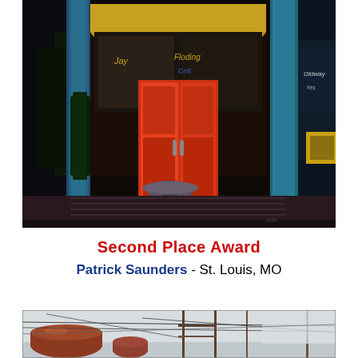[Figure (illustration): Oil painting of a storefront at night with a vivid red/orange door and blue architectural elements, painterly style]
Second Place Award
Patrick Saunders - St. Louis, MO
[Figure (photo): Photograph or painting of an industrial scene with rusty tanks, utility poles, and power lines against a pale sky]